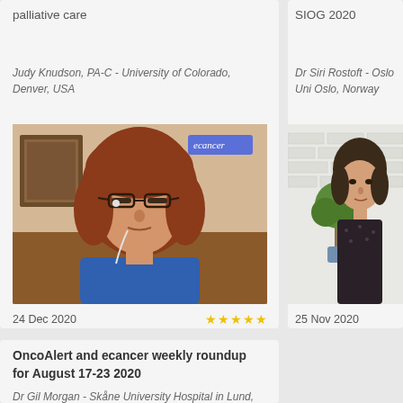palliative care
Judy Knudson, PA-C - University of Colorado, Denver, USA
[Figure (photo): Video thumbnail showing a woman with red hair and glasses wearing a blue jacket with earbuds, with ecancer logo badge. Filmed in a home setting with a picture frame on the wall.]
24 Dec 2020
SIOG 2020
Dr Siri Rostoft - Oslo Uni Oslo, Norway
[Figure (photo): Video thumbnail showing a woman in dark clothing seated in front of a white brick wall with a small potted topiary tree.]
25 Nov 2020
OncoAlert and ecancer weekly roundup for August 17-23 2020
Dr Gil Morgan - Skåne University Hospital in Lund, Sweden